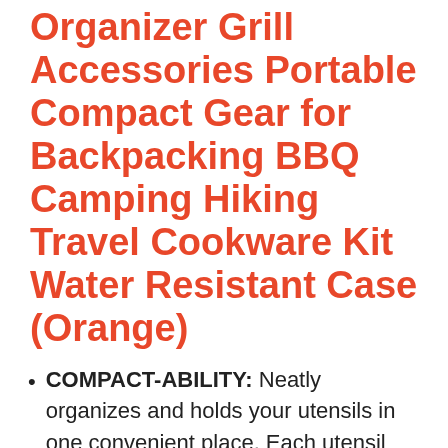Organizer Grill Accessories Portable Compact Gear for Backpacking BBQ Camping Hiking Travel Cookware Kit Water Resistant Case (Orange)
COMPACT-ABILITY: Neatly organizes and holds your utensils in one convenient place. Each utensil has its own designated pouch, so units don't get smeared, scratched or damaged in storage or in transit. Provides easy access to your